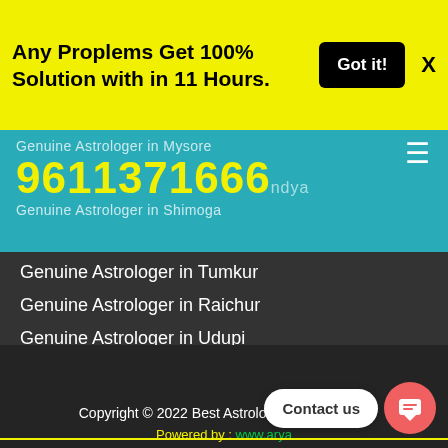Any Proplems Get 100% Solution with in 11 Hours.
Got it!
X
Genuine Astrologer in Mysore
9611371666
Genuine Astrologer in Shimoga
Genuine Astrologer in Tumkur
Genuine Astrologer in Raichur
Genuine Astrologer in Udupi
Copyright © 2022 Best Astrologer in Bangalore
Powered by : www.arya...
Contact us